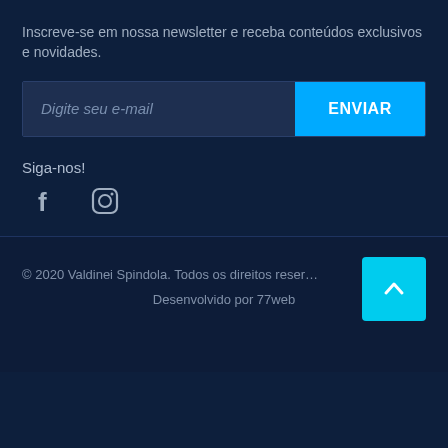Inscreve-se em nossa newsletter e receba conteúdos exclusivos e novidades.
Digite seu e-mail  ENVIAR
Siga-nos!
[Figure (illustration): Facebook and Instagram social media icons in light color on dark navy background]
© 2020 Valdinei Spindola. Todos os direitos reser…
Desenvolvido por 77web